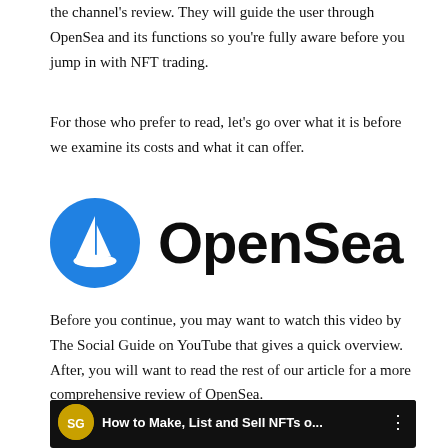the channel's review. They will guide the user through OpenSea and its functions so you're fully aware before you jump in with NFT trading.
For those who prefer to read, let's go over what it is before we examine its costs and what it can offer.
[Figure (logo): OpenSea logo: blue circle with white sailboat icon on the left, and the word 'OpenSea' in large bold black text on the right.]
Before you continue, you may want to watch this video by The Social Guide on YouTube that gives a quick overview. After, you will want to read the rest of our article for a more comprehensive review of OpenSea.
[Figure (screenshot): YouTube video thumbnail showing 'How to Make, List and Sell NFTs o...' from The Social Guide channel, with a channel icon, title bar, and a preview image showing the OpenSea logo and a person.]